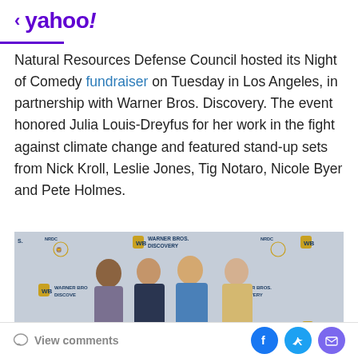< yahoo!
Natural Resources Defense Council hosted its Night of Comedy fundraiser on Tuesday in Los Angeles, in partnership with Warner Bros. Discovery. The event honored Julia Louis-Dreyfus for her work in the fight against climate change and featured stand-up sets from Nick Kroll, Leslie Jones, Tig Notaro, Nicole Byer and Pete Holmes.
[Figure (photo): Four people posing in front of a Warner Bros. Discovery and NRDC branded backdrop/step-and-repeat banner]
View comments